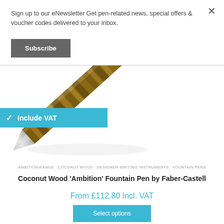Sign up to our eNewsletter Get pen-related news, special offers & voucher codes delivered to your inbox.
Subscribe
[Figure (illustration): Diagonal view of a Faber-Castell Coconut Wood Ambition fountain pen nib and barrel, showing wood grain texture]
✓ Include VAT
AMBITION RANGE  COCONUT WOOD  DESIGNER WRITING INSTRUMENTS  FOUNTAIN PENS
Coconut Wood 'Ambition' Fountain Pen by Faber-Castell
From £112.80 Incl. VAT
Select options